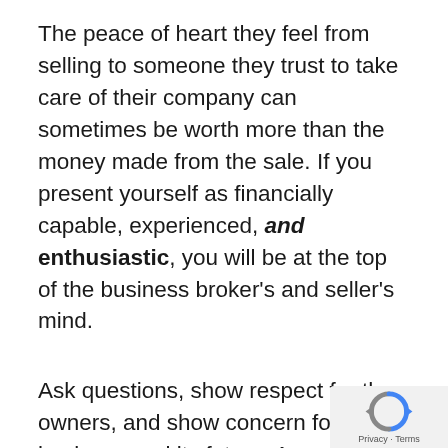The peace of heart they feel from selling to someone they trust to take care of their company can sometimes be worth more than the money made from the sale. If you present yourself as financially capable, experienced, and enthusiastic, you will be at the top of the business broker's and seller's mind.
Ask questions, show respect for the owners, and show concern for the business and its future. As much of this communication is done through the intermediary, make sure you continue